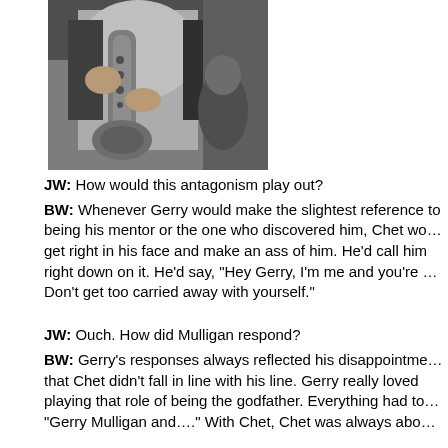[Figure (photo): Black and white photograph of a musician holding a saxophone or brass instrument, cropped to show torso and hands.]
JW: How would this antagonism play out?
BW: Whenever Gerry would make the slightest reference to being his mentor or the one who discovered him, Chet would get right in his face and make an ass of him. He'd call him right down on it. He'd say, "Hey Gerry, I'm me and you're … Don't get too carried away with yourself."
JW: Ouch. How did Mulligan respond?
BW: Gerry's responses always reflected his disappointment that Chet didn't fall in line with his line. Gerry really loved playing that role of being the godfather. Everything had to be "Gerry Mulligan and…." With Chet, Chet was always abo…